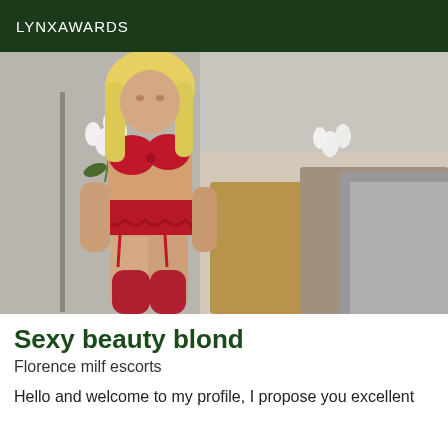LYNXAWARDS
[Figure (photo): A blonde woman wearing red lingerie (bra and garter belt set with stockings) posing in a room with a bed covered in fur/textured throws and white flowers in the background.]
Sexy beauty blond
Florence milf escorts
Hello and welcome to my profile, I propose you excellent